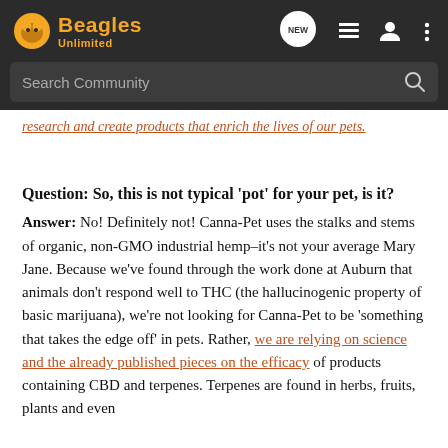Beagles Unlimited — navigation header with search bar
research and create products that enrich the lives of our pets.
Question: So, this is not typical 'pot' for your pet, is it?
Answer: No! Definitely not! Canna-Pet uses the stalks and stems of organic, non-GMO industrial hemp–it's not your average Mary Jane. Because we've found through the work done at Auburn that animals don't respond well to THC (the hallucinogenic property of basic marijuana), we're not looking for Canna-Pet to be 'something that takes the edge off' in pets. Rather, we are relying on science and the already published pieces on the efficacy of products containing CBD and terpenes. Terpenes are found in herbs, fruits, plants and even